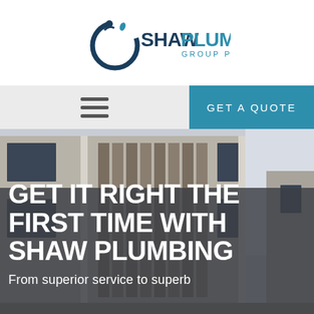[Figure (logo): Shaw Plumbing Group Pty Ltd logo with circular blue icon and text]
[Figure (other): Navigation bar with hamburger menu on left (grey background) and GET A QUOTE button on right (teal background)]
[Figure (photo): Photo of a modern multi-storey commercial building exterior with downpipes, louvred panels and windows]
GET IT RIGHT THE FIRST TIME WITH SHAW PLUMBING
From superior service to superb